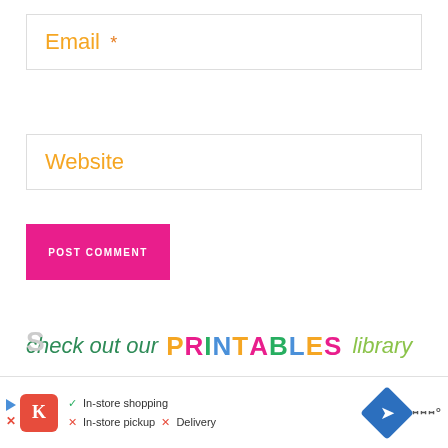Email *
Website
POST COMMENT
[Figure (illustration): Colorful decorative banner text reading 'check out our PRINTABLES library' in mixed cursive and bold multicolor letters]
[Figure (screenshot): Advertisement bar showing a store info panel with icons for in-store shopping (checkmark), in-store pickup (X), and delivery (X), plus navigation and weather icons]